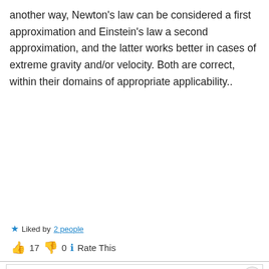another way, Newton's law can be considered a first approximation and Einstein's law a second approximation, and the latter works better in cases of extreme gravity and/or velocity. Both are correct, within their domains of appropriate applicability..
★ Liked by 2 people
👍 17 👎 0 ℹ Rate This
Privacy & Cookies: This site uses cookies. By continuing to use this website, you agree to their use. To find out more, including how to control cookies, see here: Cookie Policy
Close and accept